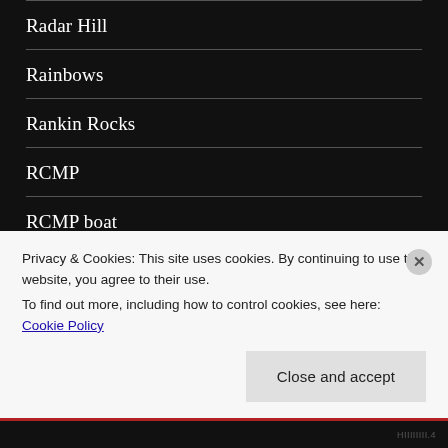Radar Hill
Rainbows
Rankin Rocks
RCMP
RCMP boat
Remote Passages
Privacy & Cookies: This site uses cookies. By continuing to use this website, you agree to their use. To find out more, including how to control cookies, see here: Cookie Policy
Close and accept